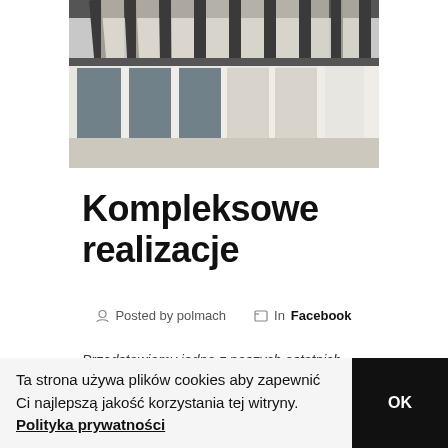[Figure (photo): Modern building exterior with dark pergola/roof structure, white columns, large glass windows/doors, concrete terrace floor — architectural photo taken from under the pergola looking outward.]
Kompleksowe realizacje
Posted by polmach   In Facebook
Przedstawiamy jedną z naszych ostatnich
Ta strona używa plików cookies aby zapewnić Ci najlepszą jakość korzystania tej witryny. Polityka prywatności  OK